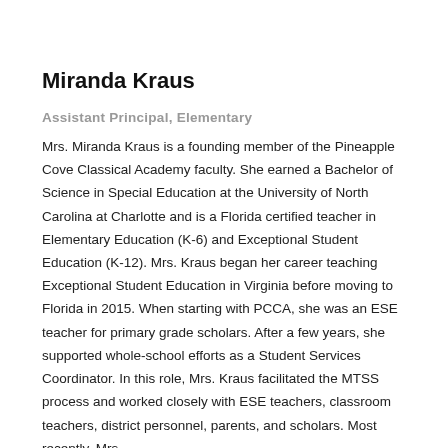Miranda Kraus
Assistant Principal, Elementary
Mrs. Miranda Kraus is a founding member of the Pineapple Cove Classical Academy faculty. She earned a Bachelor of Science in Special Education at the University of North Carolina at Charlotte and is a Florida certified teacher in Elementary Education (K-6) and Exceptional Student Education (K-12). Mrs. Kraus began her career teaching Exceptional Student Education in Virginia before moving to Florida in 2015. When starting with PCCA, she was an ESE teacher for primary grade scholars. After a few years, she supported whole-school efforts as a Student Services Coordinator. In this role, Mrs. Kraus facilitated the MTSS process and worked closely with ESE teachers, classroom teachers, district personnel, parents, and scholars. Most recently, Mrs.